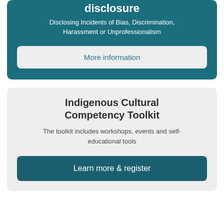disclosure
Disclosing Incidents of Bias, Discrimination, Harassment or Unprofessionalism
More information
Indigenous Cultural Competency Toolkit
The toolkit includes workshops, events and self-educational tools
Learn more & register